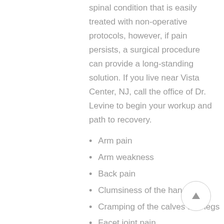spinal condition that is easily treated with non-operative protocols, however, if pain persists, a surgical procedure can provide a long-standing solution. If you live near Vista Center, NJ, call the office of Dr. Levine to begin your workup and path to recovery.
Arm pain
Arm weakness
Back pain
Clumsiness of the hands
Cramping of the calves and legs
Facet joint pain
Facet pain
Leg pain
Leg pain after laminectomy
Leg pain after microdiscectomy
Leg weakness